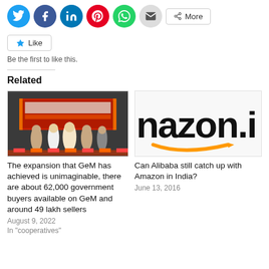[Figure (other): Social media sharing icons row: Twitter (cyan), Facebook (blue), LinkedIn (blue), Pinterest (red), WhatsApp (green), Email (gray), and a More button]
[Figure (other): Like button with star icon]
Be the first to like this.
Related
[Figure (photo): Group photo on stage at a GeM government event with dignitaries in traditional Indian attire]
The expansion that GeM has achieved is unimaginable, there are about 62,000 government buyers available on GeM and around 49 lakh sellers
August 9, 2022
In "cooperatives"
[Figure (logo): Amazon.in logo cropped showing 'nazon.i' text with the orange arrow swoosh underneath]
Can Alibaba still catch up with Amazon in India?
June 13, 2016